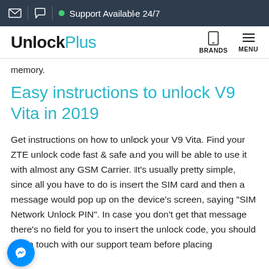Support Available 24/7
UnlockPlus
memory.
Easy instructions to unlock V9 Vita in 2019
Get instructions on how to unlock your V9 Vita. Find your ZTE unlock code fast & safe and you will be able to use it with almost any GSM Carrier. It's usually pretty simple, since all you have to do is insert the SIM card and then a message would pop up on the device's screen, saying "SIM Network Unlock PIN". In case you don't get that message there's no field for you to insert the unlock code, you should get in touch with our support team before placing